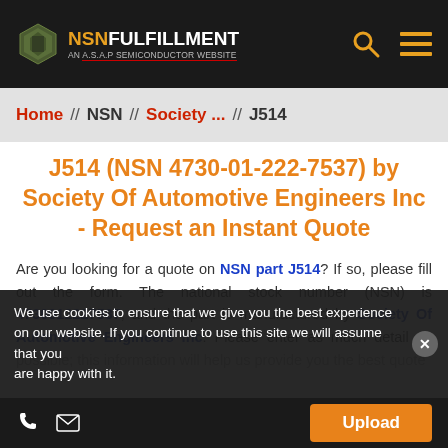NSNFULFILLMENT — AN A.S.A.P SEMICONDUCTOR WEBSITE
Home // NSN // Society... // J514
J514 (NSN 4730-01-222-7537) by Society Of Automotive Engineers Inc - Request an Instant Quote
Are you looking for a quote on NSN part J514? If so, please fill out the form. The national stock number (NSN) is 4730012227537, and the part is manufactured by Society Of Automotive Engineers Inc. Please enter as much detail as possible; this information will help us provide you the best quote
We use cookies to ensure that we give you the best experience on our website. If you continue to use this site we will assume that you are happy with it.
Upload